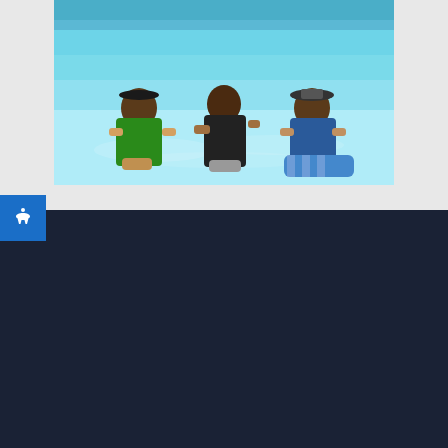[Figure (photo): Three women relaxing on floating chairs in clear turquoise shallow ocean water, wearing swimsuits and hats]
SIGN UP AND WE'LL KEEP YOU IN THE LOOP WITH OUR BEST DEALS AND UPDATES.
SUBSCRIBE
FOLLOW US ON
[Figure (infographic): Social media icons: Facebook, Instagram, LinkedIn, TikTok, Pinterest, YouTube]